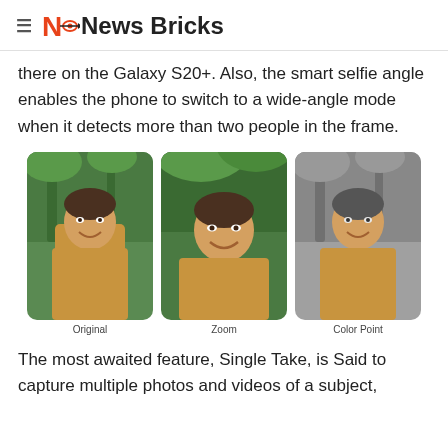≡ NB News Bricks
there on the Galaxy S20+. Also, the smart selfie angle enables the phone to switch to a wide-angle mode when it detects more than two people in the frame.
[Figure (photo): Three side-by-side photos of a woman smiling in front of palm trees. Left: Original (full color), Center: Zoom (full color, slightly closer), Right: Color Point (black and white background, subject in color). Labels: Original, Zoom, Color Point.]
The most awaited feature, Single Take, is Said to capture multiple photos and videos of a subject,